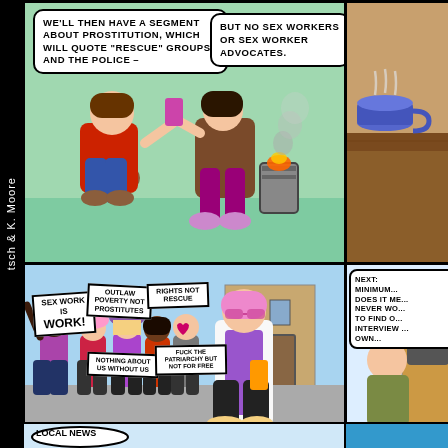[Figure (illustration): Comic strip page with multiple panels showing characters at a protest and in a cafe setting. Top panel shows two people huddled around a burning barrel. Middle large panel shows protest scene with multiple characters holding signs about sex worker rights, and a pink-haired woman in foreground using a phone. Right side panel shows a partial speech bubble about minimum wage. Bottom panel shows a partial speech bubble about 'local news'.]
WE'LL THEN HAVE A SEGMENT ABOUT PROSTITUTION, WHICH WILL QUOTE "RESCUE" GROUPS AND THE POLICE -
BUT NO SEX WORKERS OR SEX WORKER ADVOCATES.
SEX WORK IS WORK!
OUTLAW POVERTY NOT PROSTITUTES
RIGHTS NOT RESCUE
NOTHING ABOUT US WITHOUT US
FUCK THE PATRIARCHY BUT NOT FOR FREE
NEXT: MINIMUM... DOES IT ME... NEVER WO... TO FIND O... INTERVIEW ... OWN...
LOCAL NEWS
tsch & K. Moore